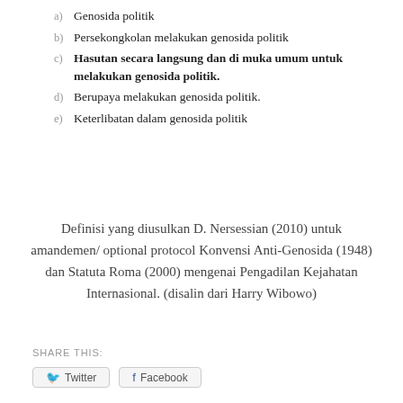a) Genosida politik
b) Persekongkolan melakukan genosida politik
c) Hasutan secara langsung dan di muka umum untuk melakukan genosida politik.
d) Berupaya melakukan genosida politik.
e) Keterlibatan dalam genosida politik
Definisi yang diusulkan D. Nersessian (2010) untuk amandemen/ optional protocol Konvensi Anti-Genosida (1948) dan Statuta Roma (2000) mengenai Pengadilan Kejahatan Internasional. (disalin dari Harry Wibowo)
SHARE THIS: